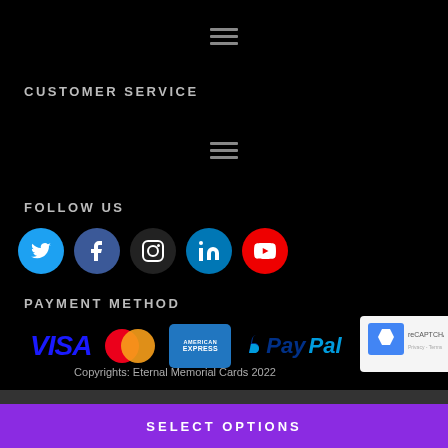[Figure (infographic): Hamburger menu icon (three horizontal lines) in gray at top center]
CUSTOMER SERVICE
[Figure (infographic): Hamburger menu icon (three horizontal lines) in gray at middle center]
FOLLOW US
[Figure (infographic): Social media icons row: Twitter (blue), Facebook (blue), Instagram (dark), LinkedIn (blue), YouTube (red)]
PAYMENT METHOD
[Figure (infographic): Payment method logos: VISA (blue italic), Mastercard (red/orange overlapping circles), American Express (blue card), PayPal (blue logo)]
Copyrights: Eternal Memorial Cards 2022
SELECT OPTIONS